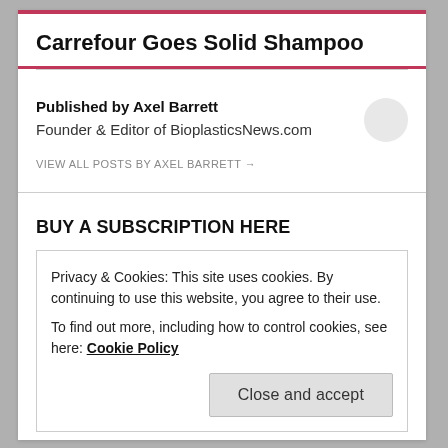Carrefour Goes Solid Shampoo
Published by Axel Barrett
Founder & Editor of BioplasticsNews.com
VIEW ALL POSTS BY AXEL BARRETT →
BUY A SUBSCRIPTION HERE
Privacy & Cookies: This site uses cookies. By continuing to use this website, you agree to their use.
To find out more, including how to control cookies, see here: Cookie Policy
Close and accept